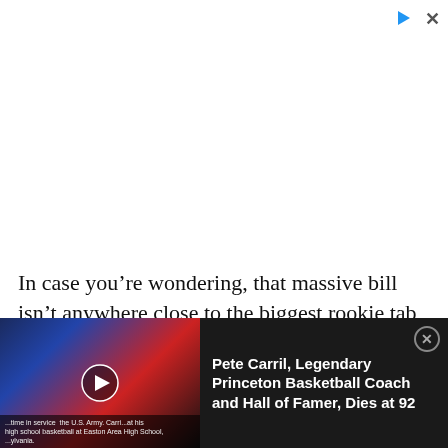[Figure (other): Advertisement area placeholder (white space) with play button icon and close X button in top right]
In case you're wondering, that massive bill isn't anywhere close to the biggest rookie tab we've seen made public. Dez Bryant once had to pick up a tab over $50,000 during his rookie year.
[Figure (photo): Video thumbnail showing an elderly man (Pete Carril) at what appears to be a basketball event, with red background and crowd. Caption reads: 'time in service ... the U.S. Army. Carri... at his high school basketball at Easton Area High School, ...ylvania.']
Pete Carril, Legendary Princeton Basketball Coach and Hall of Famer, Dies at 92